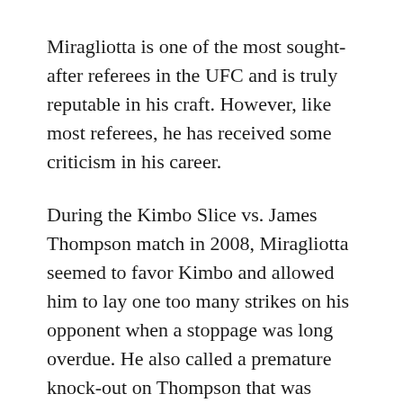Miragliotta is one of the most sought-after referees in the UFC and is truly reputable in his craft. However, like most referees, he has received some criticism in his career.
During the Kimbo Slice vs. James Thompson match in 2008, Miragliotta seemed to favor Kimbo and allowed him to lay one too many strikes on his opponent when a stoppage was long overdue. He also called a premature knock-out on Thompson that was deemed biased.
Despite the criticism, Miragliotta still works as a referee and continues to officiate many UFC matches.